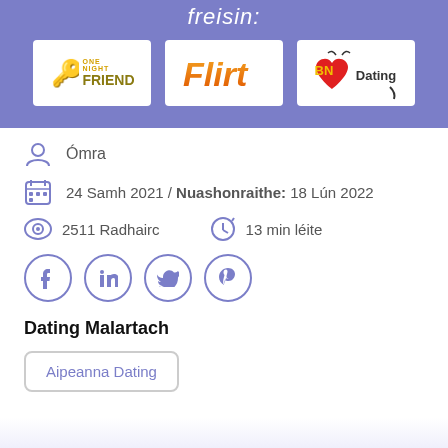freisin:
[Figure (logo): Three dating site logos: OneNightFriend, Flirt, BN Dating shown in white boxes on purple banner background]
Ómra
24 Samh 2021 / Nuashonraithe: 18 Lún 2022
2511 Radhairc
13 min léite
[Figure (other): Social sharing buttons: Facebook, LinkedIn, Twitter, Pinterest — purple circle outlines]
Dating Malartach
Aipeanna Dating